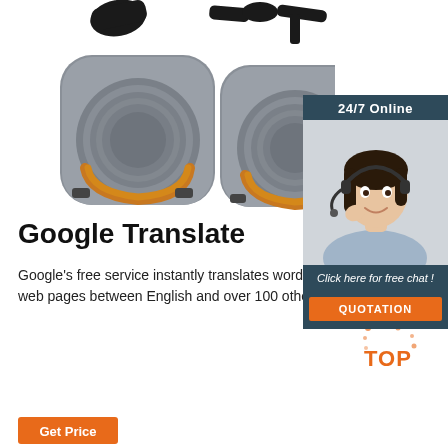[Figure (photo): Two gray circular speaker/translator devices with orange dials and accessories on white background]
[Figure (infographic): 24/7 Online chat widget with woman wearing headset, 'Click here for free chat!' text, and orange QUOTATION button]
Google Translate
Google's free service instantly translates words, phrases, and web pages between English and over 100 other languages.
[Figure (logo): Orange TOP badge/watermark]
Get Price